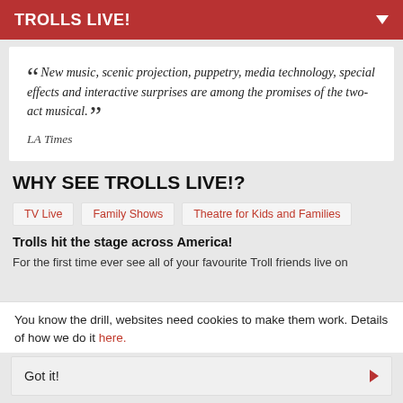TROLLS LIVE!
“” New music, scenic projection, puppetry, media technology, special effects and interactive surprises are among the promises of the two-act musical.
LA Times
WHY SEE TROLLS LIVE!?
TV Live
Family Shows
Theatre for Kids and Families
Trolls hit the stage across America!
For the first time ever see all of your favourite Troll friends live on
You know the drill, websites need cookies to make them work. Details of how we do it here.
Got it!